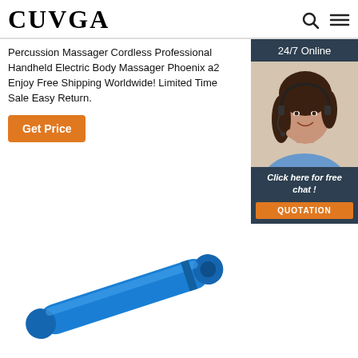CUVGA
Percussion Massager Cordless Professional Handheld Electric Body Massager Phoenix a2 Enjoy Free Shipping Worldwide! Limited Time Sale Easy Return.
Get Price
[Figure (photo): Customer service representative woman with headset smiling, with '24/7 Online' header and 'Click here for free chat!' footer with QUOTATION button, on dark navy background]
[Figure (photo): Blue cylindrical handheld electric body massager device shown diagonally on white background]